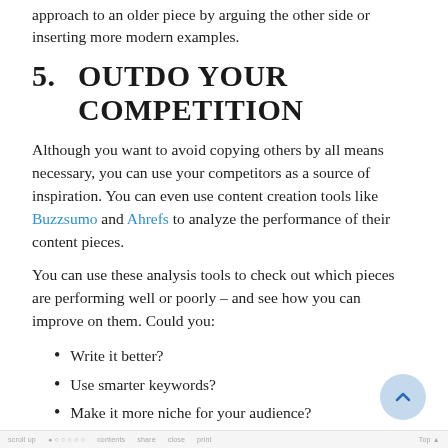approach to an older piece by arguing the other side or inserting more modern examples.
5.    OUTDO YOUR COMPETITION
Although you want to avoid copying others by all means necessary, you can use your competitors as a source of inspiration. You can even use content creation tools like Buzzsumo and Ahrefs to analyze the performance of their content pieces.
You can use these analysis tools to check out which pieces are performing well or poorly – and see how you can improve on them. Could you:
Write it better?
Use smarter keywords?
Make it more niche for your audience?
Try a different approach?
Create a stronger argument?